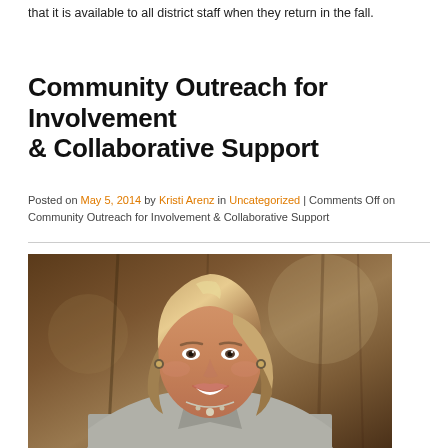that it is available to all district staff when they return in the fall.
Community Outreach for Involvement & Collaborative Support
Posted on May 5, 2014 by Kristi Arenz in Uncategorized | Comments Off on Community Outreach for Involvement & Collaborative Support
[Figure (photo): Professional headshot of a woman with medium-length blonde/brown hair, smiling, wearing a light gray blazer with a necklace, posed against a blurred warm brown background.]